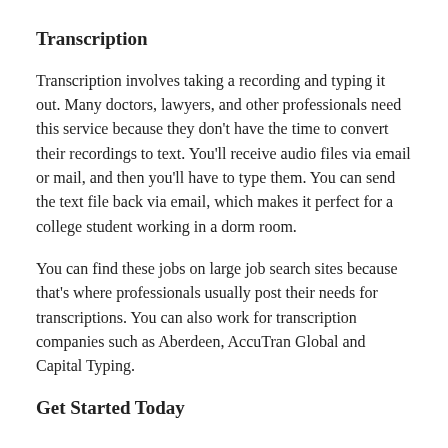Transcription
Transcription involves taking a recording and typing it out. Many doctors, lawyers, and other professionals need this service because they don't have the time to convert their recordings to text. You'll receive audio files via email or mail, and then you'll have to type them. You can send the text file back via email, which makes it perfect for a college student working in a dorm room.
You can find these jobs on large job search sites because that's where professionals usually post their needs for transcriptions. You can also work for transcription companies such as Aberdeen, AccuTran Global and Capital Typing.
Get Started Today